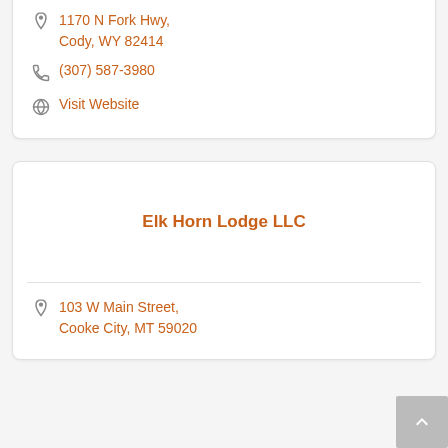1170 N Fork Hwy, Cody, WY 82414
(307) 587-3980
Visit Website
Elk Horn Lodge LLC
103 W Main Street, Cooke City, MT 59020